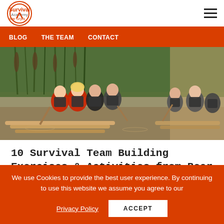Survival Academy Bear Grylls logo and navigation menu
BLOG   THE TEAM   CONTACT
[Figure (photo): Group of people wearing red jackets and black life vests sitting on bamboo rafts on a muddy river, with reeds in the background.]
10 Survival Team Building Exercises & Activities from Bear Grylls
We use Cookies to provide the best user experience. By continuing to use this website we assume you agree to our Privacy Policy  ACCEPT